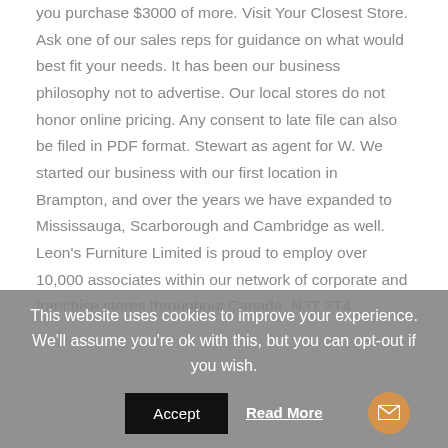you purchase $3000 of more. Visit Your Closest Store. Ask one of our sales reps for guidance on what would best fit your needs. It has been our business philosophy not to advertise. Our local stores do not honor online pricing. Any consent to late file can also be filed in PDF format. Stewart as agent for W. We started our business with our first location in Brampton, and over the years we have expanded to Mississauga, Scarborough and Cambridge as well. Leon's Furniture Limited is proud to employ over 10,000 associates within our network of corporate and franchise stores throughout Canada. N3T 2T4 Brantford, ON. That's why we've narrowed down some of the best options—for everything from price to selection. 1800 Saint Laurent Blvd. Privacy notice: By enabling the option above, your browser will
This website uses cookies to improve your experience. We'll assume you're ok with this, but you can opt-out if you wish.
Accept   Read More